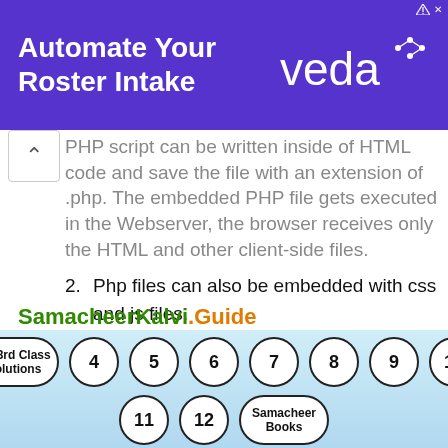[Figure (other): Advertisement banner: 'Automate Your Roster Intake' with Veda logo on purple background]
PHP script can be written inside of HTML code and save the file with an extension of .php. The embedded PHP file gets executed in the Webserver, the browser receives only the HTML and other client-side files.
2. Php files can also be embedded with css and js files.
3. Using template engines like Smarty, DWOO, Mustache, Blade we can embed PHP files.
SamacheerKalvi.Guide — TN 3rd Class Solutions, 4, 5, 6, 7, 8, 9, 10, 11, 12, Samacheer Books